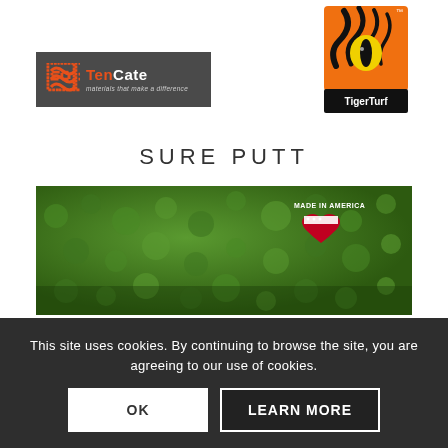[Figure (logo): TenCate logo — dark grey rectangle with orange decorative symbol and white bold text 'TenCate' with italic tagline 'materials that make a difference']
[Figure (logo): TigerTurf logo — orange and black tiger eye graphic with 'TigerTurf' text and TM mark]
SURE PUTT
[Figure (photo): Close-up photograph of green artificial turf with 'MADE IN AMERICA' text and US flag heart graphic in upper right corner]
This site uses cookies. By continuing to browse the site, you are agreeing to our use of cookies.
OK
LEARN MORE